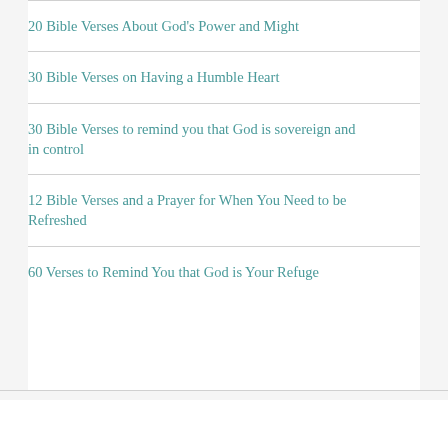20 Bible Verses About God's Power and Might
30 Bible Verses on Having a Humble Heart
30 Bible Verses to remind you that God is sovereign and in control
12 Bible Verses and a Prayer for When You Need to be Refreshed
60 Verses to Remind You that God is Your Refuge
[Figure (photo): Partial photo of a person, cropped at bottom of page, dark background with reddish tones]